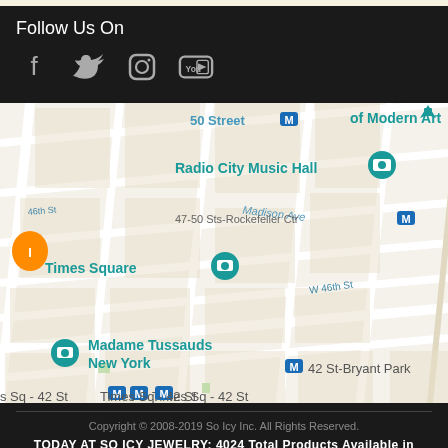Follow Us On
[Figure (infographic): Social media icons: Facebook, Twitter, Instagram, YouTube]
[Figure (map): Google Maps showing Midtown Manhattan area including Times Square, Rockefeller Center, Radio City Music Hall, Diamond District, Madame Tussauds New York, 42 St-Bryant Park, MetLife Building, with subway station markers]
Copyright © 2008-2019 So Icy Inc. All Rights Reserved.
TODAY AT SO ICY JEWELRY: 4024 Total Products Available in